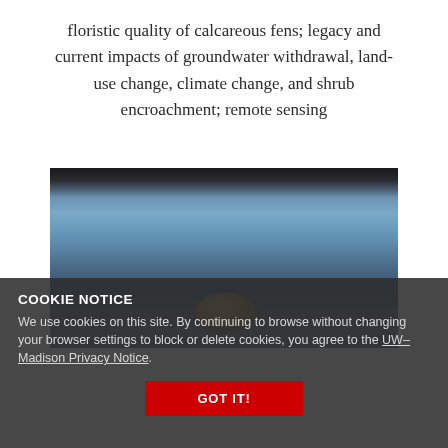floristic quality of calcareous fens; legacy and current impacts of groundwater withdrawal, land-use change, climate change, and shrub encroachment; remote sensing
[Figure (photo): Photograph of a calm lake or fen with dark treeline/hillside reflected in still blue water, with a rounded rock or stone visible in the foreground of the water]
COOKIE NOTICE
We use cookies on this site. By continuing to browse without changing your browser settings to block or delete cookies, you agree to the UW–Madison Privacy Notice.
GOT IT!